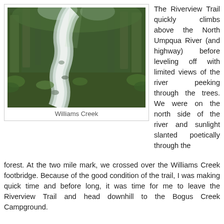[Figure (photo): Photo of Williams Creek, a rocky stream flowing through a lush, moss-covered forest with green trees and ferns on both sides.]
Williams Creek
The Riverview Trail quickly climbs above the North Umpqua River (and highway) before leveling off with limited views of the river peeking through the trees. We were on the north side of the river and sunlight slanted poetically through the forest. At the two mile mark, we crossed over the Williams Creek footbridge. Because of the good condition of the trail, I was making quick time and before long, it was time for me to leave the Riverview Trail and head downhill to the Bogus Creek Campground.